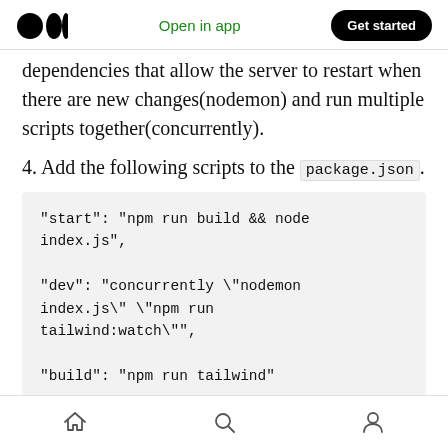Open in app | Get started
dependencies that allow the server to restart when there are new changes(nodemon) and run multiple scripts together(concurrently).
4. Add the following scripts to the package.json.
"start": "npm run build && node index.js",

"dev": "concurrently \"nodemon index.js\" \"npm run tailwind:watch\"",

"build": "npm run tailwind"
Home | Search | Profile